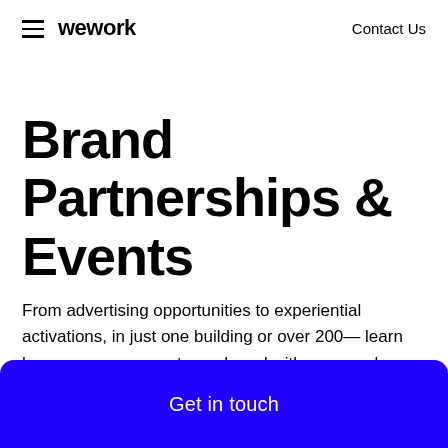wework   Contact Us
Brand Partnerships & Events
From advertising opportunities to experiential activations, in just one building or over 200— learn how you can connect your brand with our member community.
Get in touch